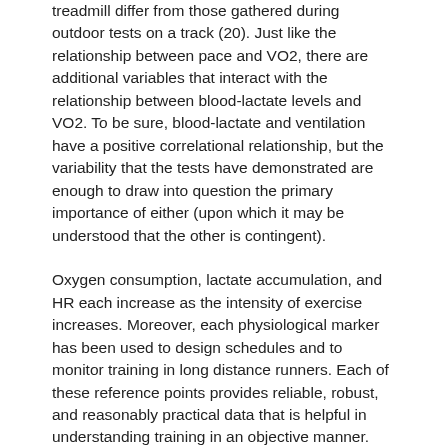treadmill differ from those gathered during outdoor tests on a track (20). Just like the relationship between pace and VO2, there are additional variables that interact with the relationship between blood-lactate levels and VO2. To be sure, blood-lactate and ventilation have a positive correlational relationship, but the variability that the tests have demonstrated are enough to draw into question the primary importance of either (upon which it may be understood that the other is contingent).
Oxygen consumption, lactate accumulation, and HR each increase as the intensity of exercise increases. Moreover, each physiological marker has been used to design schedules and to monitor training in long distance runners. Each of these reference points provides reliable, robust, and reasonably practical data that is helpful in understanding training in an objective manner. But monitoring ventilation, blood-lactate levels, and heart-rate is not always practical. While the relationship between velocity and VO2 provides a seemingly simple external indicator for exercise intensity, this either ignores too many variables or requires that the athlete